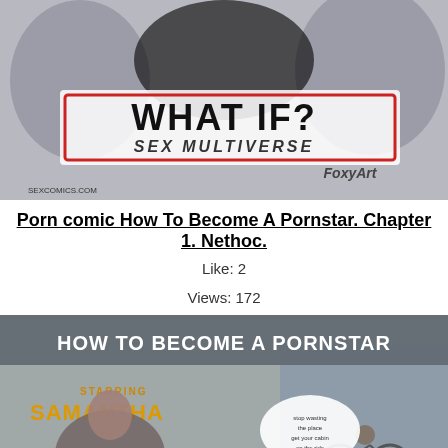[Figure (illustration): Comic book cover illustration titled 'WHAT IF? SEX MULTIVERSE' by FoxyArt, with a URL sexcomics.com visible. Colorful comic-style artwork with characters and a stylized logo on a grey/white background.]
Porn comic How To Become A Pornstar. Chapter 1. Nethoc.
Like: 2
Views: 172
[Figure (illustration): Comic book cover image titled 'HOW TO BECOME A PORNSTAR' featuring a character named Samantha in a 3D rendered style. A woman with short dark hair is shown, along with a male figure on a bicycle in the background and a speech bubble.]